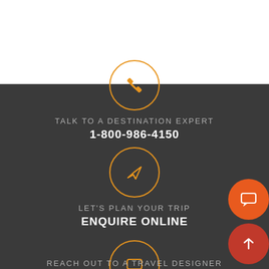[Figure (illustration): Orange circle with phone handset icon on dark grey background]
TALK TO A DESTINATION EXPERT
1-800-986-4150
[Figure (illustration): Orange circle with paper plane icon on dark grey background]
LET'S PLAN YOUR TRIP
ENQUIRE ONLINE
[Figure (illustration): Orange circle with chat bubble icon on dark grey background]
REACH OUT TO A TRAVEL DESIGNER
[Figure (illustration): Two floating orange round buttons on bottom right: chat icon and up arrow icon]